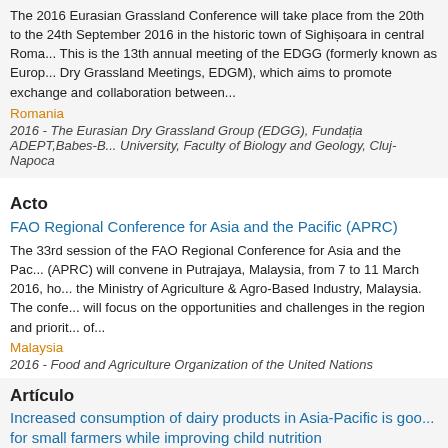The 2016 Eurasian Grassland Conference will take place from the 20th to the 24th September 2016 in the historic town of Sighișoara in central Romania. This is the 13th annual meeting of the EDGG (formerly known as European Dry Grassland Meetings, EDGM), which aims to promote exchange and collaboration between...
Romania
2016 - The Eurasian Dry Grassland Group (EDGG), Fundația ADEPT,Babes-Bolyai University, Faculty of Biology and Geology, Cluj-Napoca
Acto
FAO Regional Conference for Asia and the Pacific (APRC)
The 33rd session of the FAO Regional Conference for Asia and the Pacific (APRC) will convene in Putrajaya, Malaysia, from 7 to 11 March 2016, hosted by the Ministry of Agriculture & Agro-Based Industry, Malaysia. The conference will focus on the opportunities and challenges in the region and priorities of...
Malaysia
2016 - Food and Agriculture Organization of the United Nations
Artículo
Increased consumption of dairy products in Asia-Pacific is good for small farmers while improving child nutrition
The increased consumption of dairy products in Asia and the Pacific is...